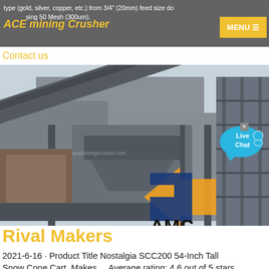type (gold, silver, copper, etc.) from 3/4" (20mm) feed size do ing 50 Mesh (300um). ACE mining Crusher MENU
Contact us
[Figure (photo): Industrial mining crusher machinery facility with conveyor belts, large metal structures, and AMC logo visible in the lower right of the image. A Live Chat speech bubble overlay appears in the upper right.]
Rival Makers
2021-6-16 · Product Title Nostalgia SCC200 54-Inch Tall Snow Cone Cart, Makes ... Average rating: 4.6 out of 5 stars